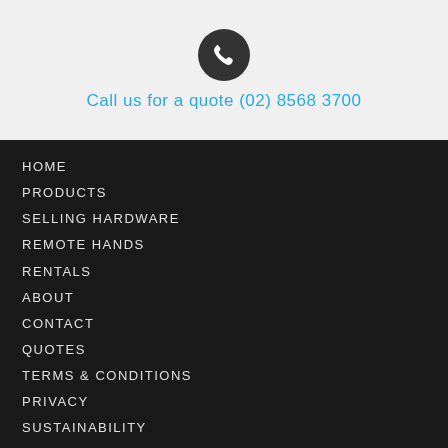[Figure (illustration): Dark circular phone icon with white telephone handset symbol]
Call us for a quote (02) 8568 3700
HOME
PRODUCTS
SELLING HARDWARE
REMOTE HANDS
RENTALS
ABOUT
CONTACT
QUOTES
TERMS & CONDITIONS
PRIVACY
SUSTAINABILITY